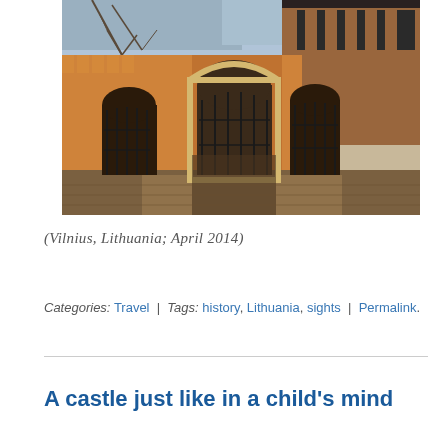[Figure (photo): Photograph of a medieval brick building with Gothic arched gate and iron gates, warm golden light, bare trees in background — Vilnius, Lithuania]
(Vilnius, Lithuania; April 2014)
Categories: Travel | Tags: history, Lithuania, sights | Permalink.
A castle just like in a child's mind